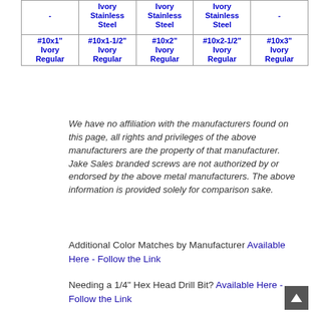| - | Ivory Stainless Steel | Ivory Stainless Steel | Ivory Stainless Steel | - |
| --- | --- | --- | --- | --- |
| #10x1" Ivory Regular | #10x1-1/2" Ivory Regular | #10x2" Ivory Regular | #10x2-1/2" Ivory Regular | #10x3" Ivory Regular |
We have no affiliation with the manufacturers found on this page, all rights and privileges of the above manufacturers are the property of that manufacturer. Jake Sales branded screws are not authorized by or endorsed by the above metal manufacturers. The above information is provided solely for comparison sake.
Additional Color Matches by Manufacturer Available Here - Follow the Link
Needing a 1/4" Hex Head Drill Bit? Available Here - Follow the Link